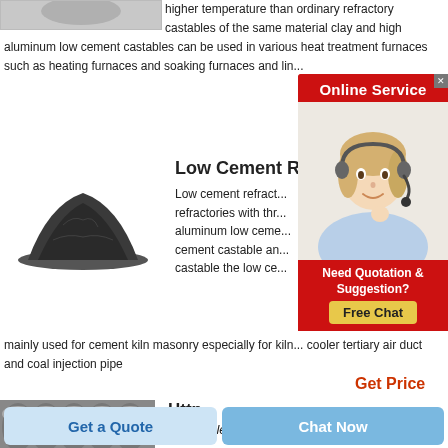[Figure (photo): Partial view of an industrial product image at top left]
higher temperature than ordinary refractory castables of the same material clay and high aluminum low cement castables can be used in various heat treatment furnaces such as heating furnaces and soaking furnaces and lin...
[Figure (photo): Black powdered refractory material (low cement castable) pile]
Low Cement R...
Low cement refract... refractories with thr... aluminum low ceme... cement castable an... castable the low ce... mainly used for cement kiln masonry especially for kiln... cooler tertiary air duct and coal injection pipe
[Figure (photo): Online Service advertisement overlay with customer service agent and Free Chat button]
Get Price
[Figure (photo): Industrial cylindrical refractory products bottom section image]
Http
//Castablerefactory/Industry...
Get a Quote
Chat Now